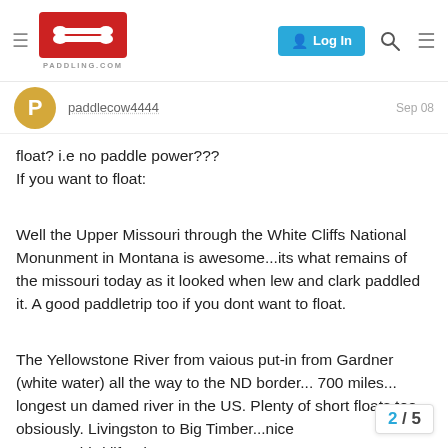paddling.com — Log In
paddlecow4444   Sep 08
float? i.e no paddle power???
If you want to float:
Well the Upper Missouri through the White Cliffs National Monunment in Montana is awesome...its what remains of the missouri today as it looked when lew and clark paddled it. A good paddletrip too if you dont want to float.
The Yellowstone River from vaious put-in from Gardner (white water) all the way to the ND border... 700 miles... longest un damed river in the US. Plenty of short floats too obsiously. Livingston to Big Timber...nice to camp, bird life, deer etc.
2 / 5